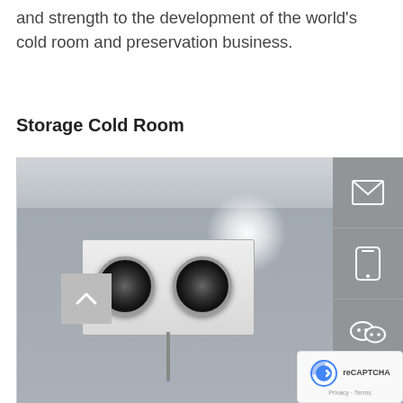and strength to the development of the world's cold room and preservation business.
Storage Cold Room
[Figure (photo): Interior of a cold room showing two refrigeration evaporator units mounted on the wall, each with two fan circles, with bright light flares above each unit. The room has metallic grey walls and a floor shadow at the bottom.]
The storage-type cold room is the most constructed cold room in the 1980s and 1990s.
At present, it is the largest type of cold